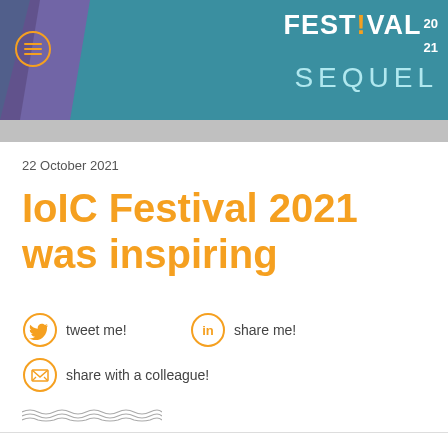FESTIVAL 2021 SEQUEL
22 October 2021
IoIC Festival 2021 was inspiring
tweet me!
share me!
share with a colleague!